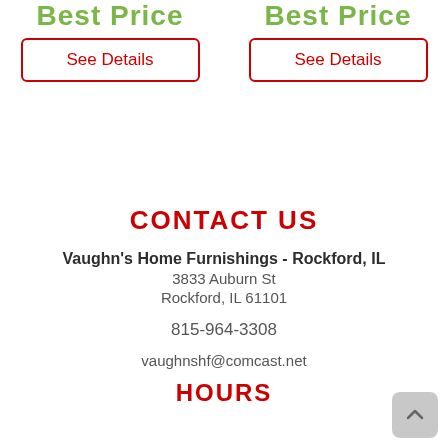Best Price
Best Price
See Details
See Details
CONTACT US
Vaughn's Home Furnishings - Rockford, IL
3833 Auburn St
Rockford, IL 61101

815-964-3308

vaughnshf@comcast.net
HOURS